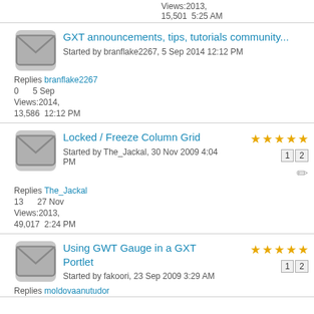Views:2013,
15,501	5:25 AM
GXT announcements, tips, tutorials community...
Started by branflake2267, 5 Sep 2014 12:12 PM
Replies: branflake2267
0	5 Sep
Views: 2014,
13,586	12:12 PM
Locked / Freeze Column Grid
Started by The_Jackal, 30 Nov 2009 4:04 PM
Replies: The_Jackal
13	27 Nov
Views: 2013,
49,017	2:24 PM
Using GWT Gauge in a GXT Portlet
Started by fakoori, 23 Sep 2009 3:29 AM
Replies: moldovaanutudor